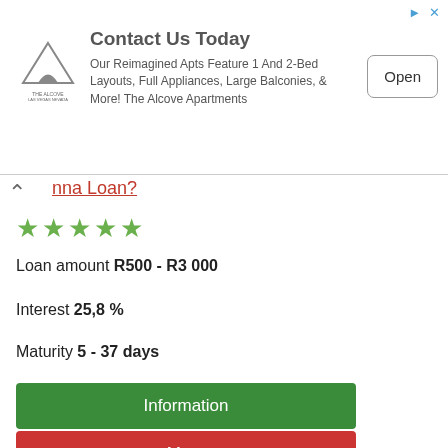[Figure (infographic): Advertisement banner: The Alcove logo, 'Contact Us Today' heading, apartment description text, and 'Open' button with ad icons]
nna Loan?
★★★★★
Loan amount R500 - R3 000
Interest 25,8 %
Maturity 5 - 37 days
Information
More
ad
Bayport